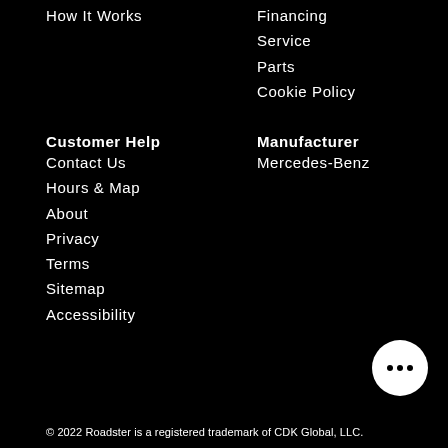How It Works
Financing
Service
Parts
Cookie Policy
Customer Help
Manufacturer
Contact Us
Mercedes-Benz
Hours & Map
About
Privacy
Terms
Sitemap
Accessibility
© 2022 Roadster is a registered trademark of CDK Global, LLC.